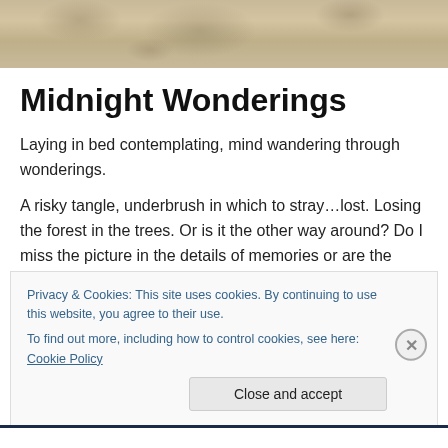[Figure (illustration): Pencil sketch drawing of tangled tree branches or organic forms in sepia/tan tones, cropped at top of page]
Midnight Wonderings
Laying in bed contemplating, mind wandering through wonderings.
A risky tangle, underbrush in which to stray…lost. Losing the forest in the trees. Or is it the other way around? Do I miss the picture in the details of memories or are the memories lost with the foreknowledge of their ending.
Privacy & Cookies: This site uses cookies. By continuing to use this website, you agree to their use.
To find out more, including how to control cookies, see here: Cookie Policy
Close and accept